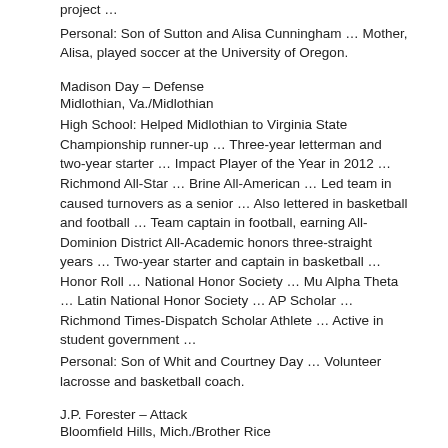project …
Personal: Son of Sutton and Alisa Cunningham … Mother, Alisa, played soccer at the University of Oregon.
Madison Day – Defense
Midlothian, Va./Midlothian
High School: Helped Midlothian to Virginia State Championship runner-up … Three-year letterman and two-year starter … Impact Player of the Year in 2012 … Richmond All-Star … Brine All-American … Led team in caused turnovers as a senior … Also lettered in basketball and football … Team captain in football, earning All-Dominion District All-Academic honors three-straight years … Two-year starter and captain in basketball … Honor Roll … National Honor Society … Mu Alpha Theta … Latin National Honor Society … AP Scholar … Richmond Times-Dispatch Scholar Athlete … Active in student government …
Personal: Son of Whit and Courtney Day … Volunteer lacrosse and basketball coach.
J.P. Forester – Attack
Bloomfield Hills, Mich./Brother Rice
High School: Helped Brother Rice win three-straight state championships, extending the school's streak to 10 in a row … Brother Rice hasn't lost to another Michigan team in 10 years … Three-year letterman and two-year starter … Team captain